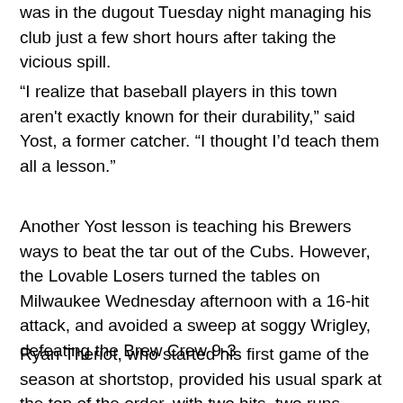was in the dugout Tuesday night managing his club just a few short hours after taking the vicious spill.
“I realize that baseball players in this town aren't exactly known for their durability,” said Yost, a former catcher. “I thought I’d teach them all a lesson.”
Another Yost lesson is teaching his Brewers ways to beat the tar out of the Cubs. However, the Lovable Losers turned the tables on Milwaukee Wednesday afternoon with a 16-hit attack, and avoided a sweep at soggy Wrigley, defeating the Brew Crew 9-3.
Ryan Theriot, who started his first game of the season at shortstop, provided his usual spark at the top of the order, with two hits, two runs scored, and two RBI. Derrek Lee added four hits, including his first home run of the season. Starter Ted Lilly pitched seven strong innings to even up his